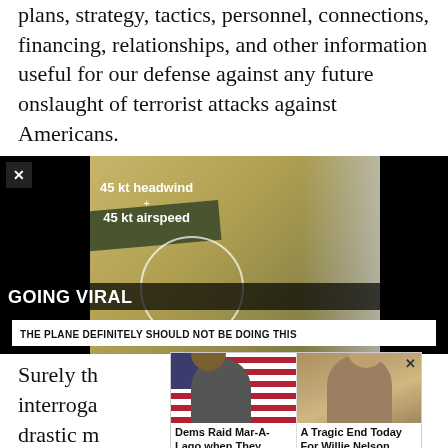plans, strategy, tactics, personnel, connections, financing, relationships, and other information useful for our defense against any future onslaught of terrorist attacks against Americans.
[Figure (screenshot): Video screenshot showing aerial view of farmland with text overlays '45 kt headwind', '45 kt airspeed', 'GOING VIRAL', and caption 'THE PLANE DEFINITELY SHOULD NOT BE DOING THIS'. Has a close X button and black borders.]
Surely th... s of interroga... more drastic m... em?
In order... ust
[Figure (screenshot): Two advertisement cards overlapping the text. Left ad: 'Dems Raid Mar-A-Lago when They Should b...' with source 'Infected'. Right ad: 'A Tragic End Today For Willie Nelson' with source 'Breaking News'. Has a close X button.]